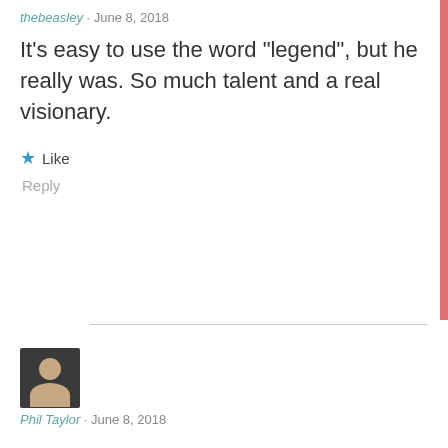thebeasley · June 8, 2018
It’s easy to use the word “legend”, but he really was. So much talent and a real visionary.
★ Like
Reply
[Figure (photo): Profile photo of Phil Taylor, a man with short hair]
Phil Taylor · June 8, 2018